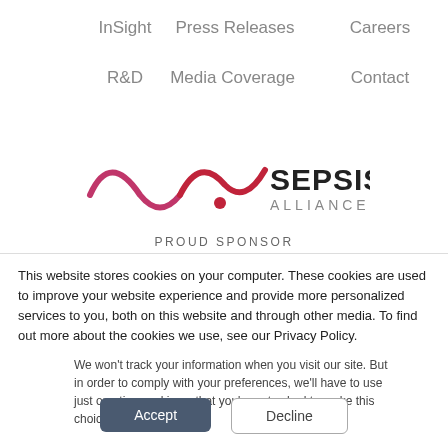InSight
Press Releases
Careers
R&D
Media Coverage
Contact
[Figure (logo): Sepsis Alliance logo with stylized waveform/heartbeat graphic in red and dark pink, and text 'SEPSIS ALLIANCE']
PROUD SPONSOR
This website stores cookies on your computer. These cookies are used to improve your website experience and provide more personalized services to you, both on this website and through other media. To find out more about the cookies we use, see our Privacy Policy.
We won't track your information when you visit our site. But in order to comply with your preferences, we'll have to use just one tiny cookie so that you're not asked to make this choice again.
Accept
Decline